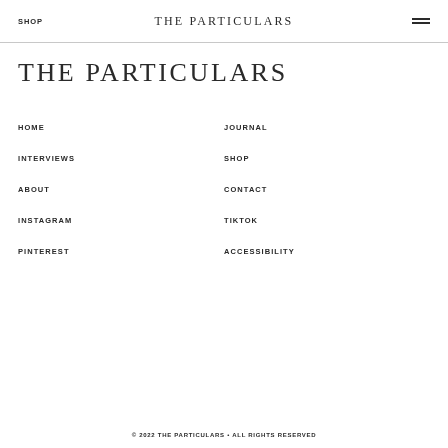SHOP  THE PARTICULARS
THE PARTICULARS
HOME
JOURNAL
INTERVIEWS
SHOP
ABOUT
CONTACT
INSTAGRAM
TIKTOK
PINTEREST
ACCESSIBILITY
© 2022 THE PARTICULARS • ALL RIGHTS RESERVED